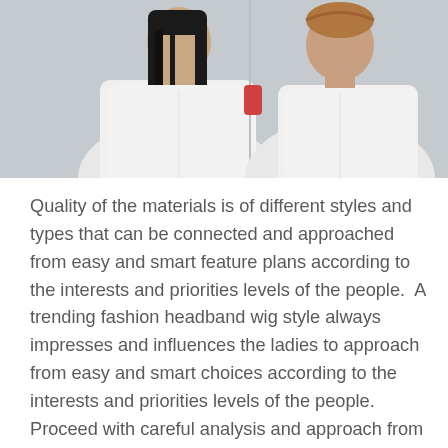[Figure (photo): Two women wearing white t-shirts against a light gray background. The woman on the left has long straight dark hair. The woman on the right has her hair pulled back.]
Quality of the materials is of different styles and types that can be connected and approached from easy and smart feature plans according to the interests and priorities levels of the people.  A trending fashion headband wig style always impresses and influences the ladies to approach from easy and smart choices according to the interests and priorities levels of the people. Proceed with careful analysis and approach from instant and smart feature choice to enhance the credibility and importance of the trending hairstyle fashion ideas.